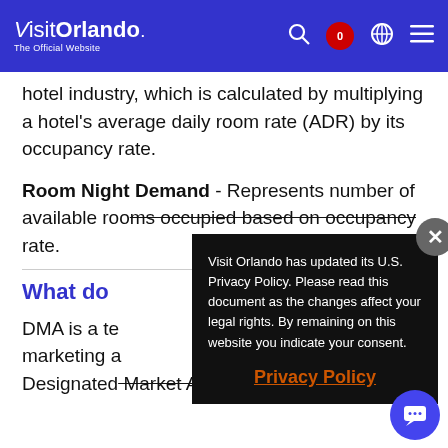Visit Orlando – The Official Website
hotel industry, which is calculated by multiplying a hotel's average daily room rate (ADR) by its occupancy rate.
Room Night Demand - Represents number of available rooms occupied based on occupancy rate.
What do
DMA is a te marketing a Designated Market Area and represents a
[Figure (screenshot): Privacy policy modal overlay with black background. Text reads: 'Visit Orlando has updated its U.S. Privacy Policy. Please read this document as the changes affect your legal rights. By remaining on this website you indicate your consent.' With a 'Privacy Policy' link in orange and an X close button.]